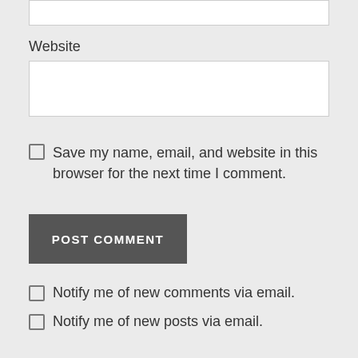Website
[Figure (screenshot): Website text input field (empty white box)]
Save my name, email, and website in this browser for the next time I comment.
POST COMMENT
Notify me of new comments via email.
Notify me of new posts via email.